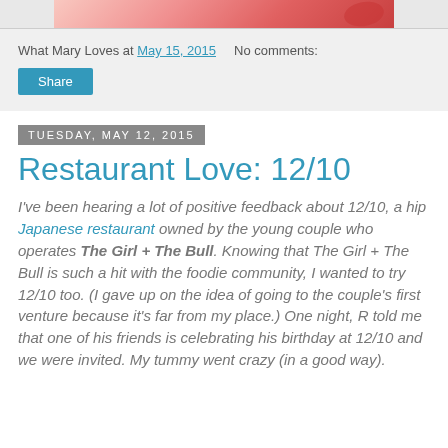[Figure (photo): Partial top strip of a food/restaurant photo with warm red and pink tones, cropped at top of page]
What Mary Loves at May 15, 2015   No comments:
Share
Tuesday, May 12, 2015
Restaurant Love: 12/10
I've been hearing a lot of positive feedback about 12/10, a hip Japanese restaurant owned by the young couple who operates The Girl + The Bull. Knowing that The Girl + The Bull is such a hit with the foodie community, I wanted to try 12/10 too. (I gave up on the idea of going to the couple's first venture because it's far from my place.) One night, R told me that one of his friends is celebrating his birthday at 12/10 and we were invited. My tummy went crazy (in a good way).